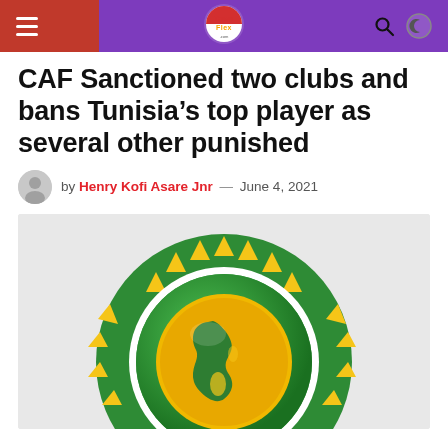TownFlex navigation bar
CAF Sanctioned two clubs and bans Tunisia's top player as several other punished
by Henry Kofi Asare Jnr — June 4, 2021
[Figure (illustration): CAF (Confederation of African Football) logo — a green circular emblem with yellow triangular shapes around the border and a golden globe showing the African continent in the center]